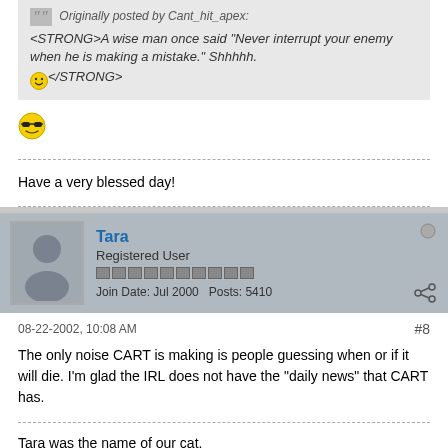Originally posted by Cant_hit_apex: <STRONG>A wise man once said "Never interrupt your enemy when he is making a mistake." Shhhhh. [smiley] </STRONG>
[Figure (illustration): Cool sunglasses smiley emoji icon]
Have a very blessed day!
Tara
Registered User
Join Date: Jul 2000  Posts: 5410
08-22-2002, 10:08 AM
#8
The only noise CART is making is people guessing when or if it will die. I'm glad the IRL does not have the "daily news" that CART has.
Tara was the name of our cat.